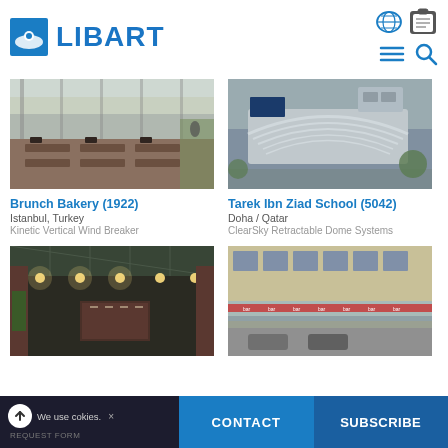LIBART
[Figure (photo): Interior of Brunch Bakery 1922, Istanbul — restaurant with glass walls, chairs and tables]
[Figure (photo): Aerial view of Tarek Ibn Ziad School, Doha Qatar — building with retractable dome roof]
Brunch Bakery (1922)
Istanbul, Turkey
Kinetic Vertical Wind Breaker
Tarek Ibn Ziad School (5042)
Doha / Qatar
ClearSky Retractable Dome Systems
[Figure (photo): Indoor restaurant with glass roof, pendant lights, long dining tables — dark interior]
[Figure (photo): Exterior of a restaurant/bar with glass canopy, street-facing facade with neon signs]
We use cokies. × REQUEST FORM | CONTACT | SUBSCRIBE